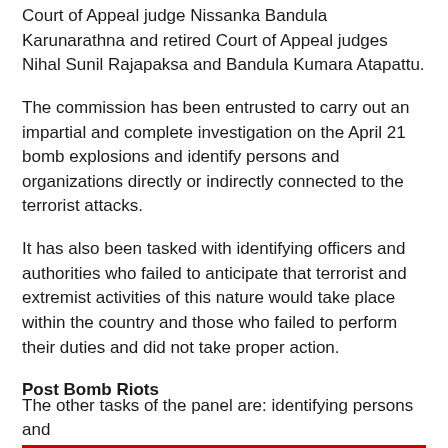Court of Appeal judge Nissanka Bandula Karunarathna and retired Court of Appeal judges Nihal Sunil Rajapaksa and Bandula Kumara Atapattu.
The commission has been entrusted to carry out an impartial and complete investigation on the April 21 bomb explosions and identify persons and organizations directly or indirectly connected to the terrorist attacks.
It has also been tasked with identifying officers and authorities who failed to anticipate that terrorist and extremist activities of this nature would take place within the country and those who failed to perform their duties and did not take proper action.
Post Bomb Riots
The other tasks of the panel are: identifying persons and